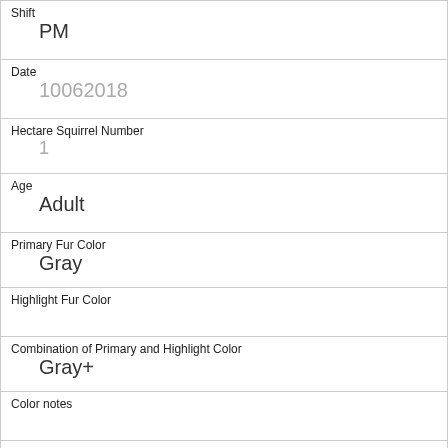| Shift | PM |
| Date | 10062018 |
| Hectare Squirrel Number | 1 |
| Age | Adult |
| Primary Fur Color | Gray |
| Highlight Fur Color |  |
| Combination of Primary and Highlight Color | Gray+ |
| Color notes |  |
| Location | Above Ground |
| Above Ground Sighter Measurement | 50 |
| Specific Location |  |